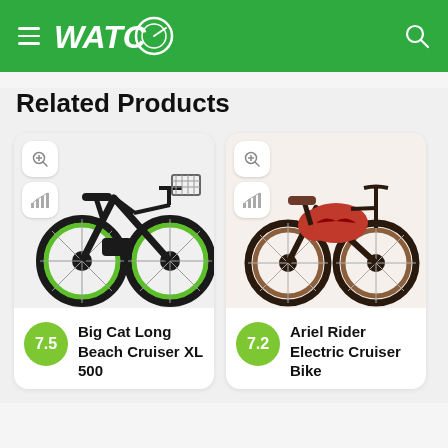WATC
Related Products
[Figure (photo): Black electric fat-tire beach cruiser bicycle with green wheel rims and front basket, shown on white background]
7.5 Big Cat Long Beach Cruiser XL 500
[Figure (photo): Red and brown electric cruiser bicycle with brown tires and classic retro styling, shown on white background]
7.2 Ariel Rider Electric Cruiser Bike